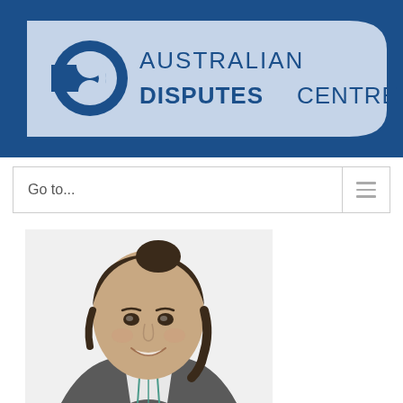[Figure (logo): Australian Disputes Centre logo — circular 'ad' icon in dark blue beside text 'AUSTRALIAN DISPUTES CENTRE' on a light blue banner set against a dark navy background]
Go to...
[Figure (photo): Headshot of a young woman with dark hair pulled back, smiling, wearing a dark blazer over a striped shirt, photographed against a white background]